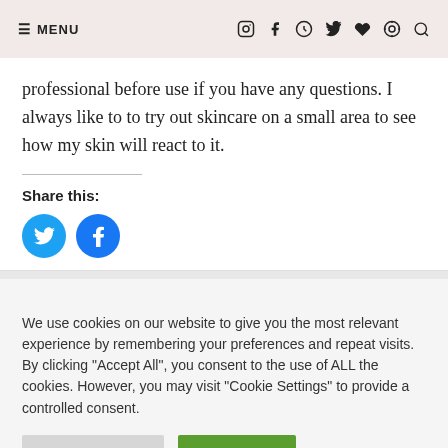≡ MENU
professional before use if you have any questions. I always like to to try out skincare on a small area to see how my skin will react to it.
Share this:
[Figure (illustration): Twitter and Facebook share buttons as blue circles with white icons]
We use cookies on our website to give you the most relevant experience by remembering your preferences and repeat visits. By clicking "Accept All", you consent to the use of ALL the cookies. However, you may visit "Cookie Settings" to provide a controlled consent.
Cookie Settings | Accept All